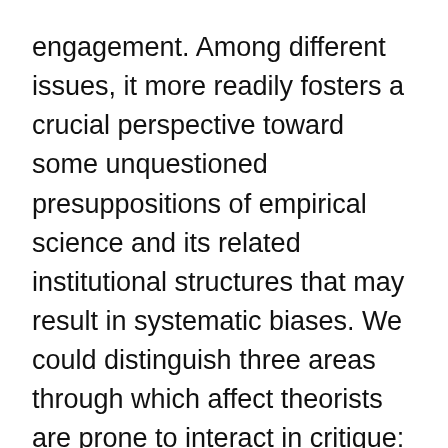engagement. Among different issues, it more readily fosters a crucial perspective toward some unquestioned presuppositions of empirical science and its related institutional structures that may result in systematic biases. We could distinguish three areas through which affect theorists are prone to interact in critique: social ideology, language, and basic psychological operations or contents (e.g., unacknowledged wishes). All three have probably priceless penalties for the research of literature and emotion.
It is clear that such deep evaluation requires a